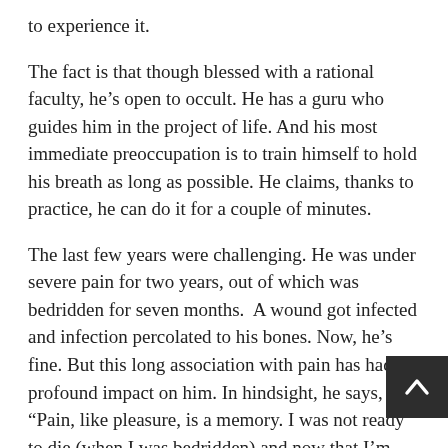to experience it.
The fact is that though blessed with a rational faculty, he's open to occult. He has a guru who guides him in the project of life. And his most immediate preoccupation is to train himself to hold his breath as long as possible. He claims, thanks to practice, he can do it for a couple of minutes.
The last few years were challenging. He was under severe pain for two years, out of which was bedridden for seven months.  A wound got infected and infection percolated to his bones. Now, he's fine. But this long association with pain has had a profound impact on him. In hindsight, he says, “Pain, like pleasure, is a memory. I was not ready to die (when I was bedridden) and now that I’m fine, ready to die.”